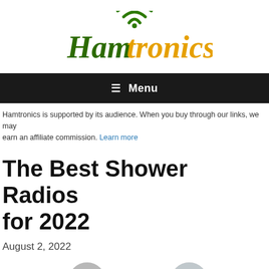[Figure (logo): Hamtronics logo with green WiFi icon above green and orange stylized text]
≡ Menu
Hamtronics is supported by its audience. When you buy through our links, we may earn an affiliate commission. Learn more
The Best Shower Radios for 2022
August 2, 2022
Writen by
Richard Pennington
Fact checked by
Author name